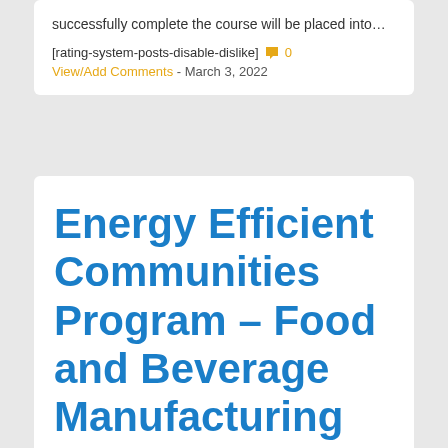successfully complete the course will be placed into…
[rating-system-posts-disable-dislike] 0
View/Add Comments - March 3, 2022
Energy Efficient Communities Program – Food and Beverage Manufacturing Business